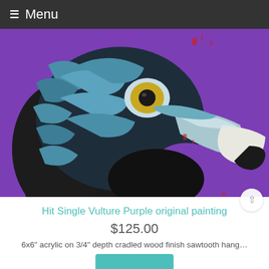☰ Menu
[Figure (photo): Close-up oil/acrylic painting of a vulture head with blue and black feathers, a golden-yellow eye, and a hooked white-tipped beak against a bright purple background with red accent marks.]
Hit Single Vulture Purple original painting
$125.00
6x6" acrylic on 3/4" depth cradled wood finish sawtooth hang...